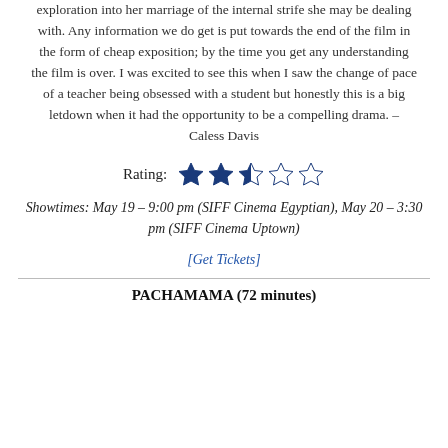exploration into her marriage of the internal strife she may be dealing with. Any information we do get is put towards the end of the film in the form of cheap exposition; by the time you get any understanding the film is over. I was excited to see this when I saw the change of pace of a teacher being obsessed with a student but honestly this is a big letdown when it had the opportunity to be a compelling drama. – Caless Davis
Rating: ★★½☆☆
Showtimes: May 19 – 9:00 pm (SIFF Cinema Egyptian), May 20 – 3:30 pm (SIFF Cinema Uptown)
[Get Tickets]
PACHAMAMA (72 minutes)